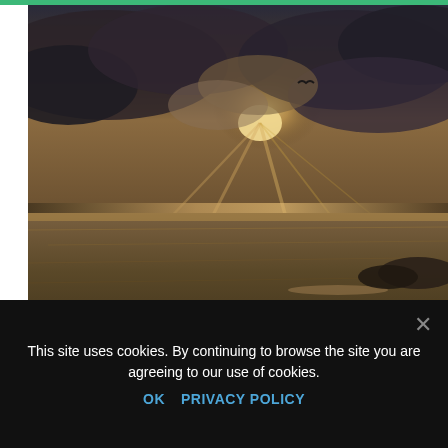[Figure (photo): Dramatic seascape photo with stormy clouds, sun rays breaking through, dark ocean water with a bird silhouette in the sky]
Author Dr. Dain Heer   Category Being You
Many of us are looking for a sense of ease and a sense of peace. Yet how do we find it when our heads are full of so much STUFF, and stuff that's not even ours? What if none of it is yours? We...Read More
This site uses cookies. By continuing to browse the site you are agreeing to our use of cookies.
OK   PRIVACY POLICY